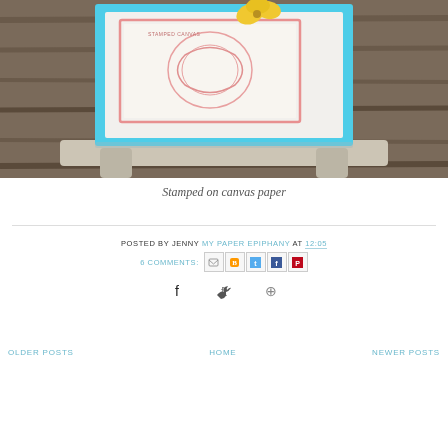[Figure (photo): A handmade greeting card stamped with a floral design in pink/red, placed on a small white wooden easel. A yellow ginkgo leaf decoration is attached to the top of the card. The card has a cyan/blue border and is photographed on a wooden surface.]
Stamped on canvas paper
POSTED BY JENNY MY PAPER EPIPHANY AT 12:05
6 COMMENTS:
OLDER POSTS    HOME    NEWER POSTS